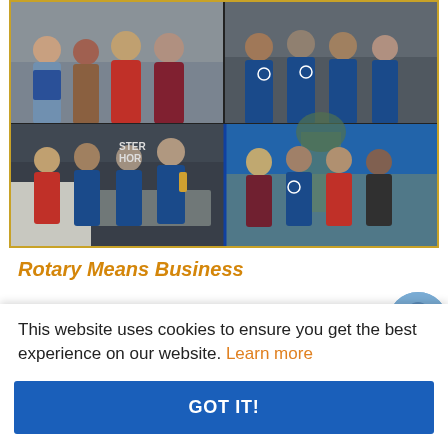[Figure (photo): A 2x2 grid collage of photos showing groups of people at an outdoor Rotary event, many wearing blue Rotary aprons. Top-left: mixed group including women in casual clothes. Top-right: group of men in blue aprons. Bottom-left: men in blue aprons and one in red apron near a trailer. Bottom-right: smiling group in blue aprons under a blue tent.]
Rotary Means Business
RSVP here:
This website uses cookies to ensure you get the best experience on our website. Learn more
GOT IT!